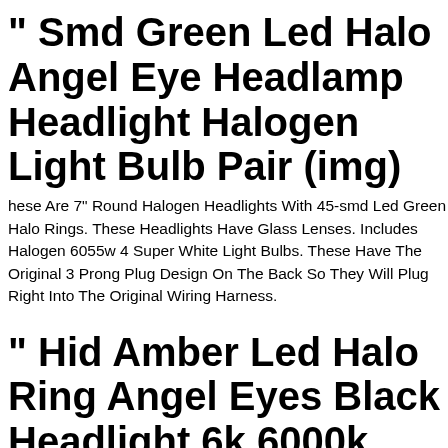" Smd Green Led Halo Angel Eye Headlamp Headlight Halogen Light Bulb Pair (img)
hese Are 7" Round Halogen Headlights With 45-smd Led Green Halo Rings. These Headlights Have Glass Lenses. Includes Halogen 6055w 4 Super White Light Bulbs. These Have The Original 3 Prong Plug Design On The Back So They Will Plug Right Into The Original Wiring Harness.
" Hid Amber Led Halo Ring Angel Eyes Black Headlight 6k 6000k Light Bulbs Pair
Round Black Headlights W 6k Hid Headlight With Amber Led Halo Rings. Includes 6000k (white Color) Ac Slim Ballast 35w Bi-xenon Hid